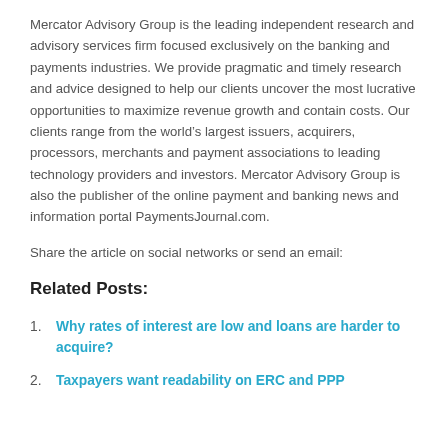Mercator Advisory Group is the leading independent research and advisory services firm focused exclusively on the banking and payments industries. We provide pragmatic and timely research and advice designed to help our clients uncover the most lucrative opportunities to maximize revenue growth and contain costs. Our clients range from the world's largest issuers, acquirers, processors, merchants and payment associations to leading technology providers and investors. Mercator Advisory Group is also the publisher of the online payment and banking news and information portal PaymentsJournal.com.
Share the article on social networks or send an email:
Related Posts:
Why rates of interest are low and loans are harder to acquire?
Taxpayers want readability on ERC and PPP